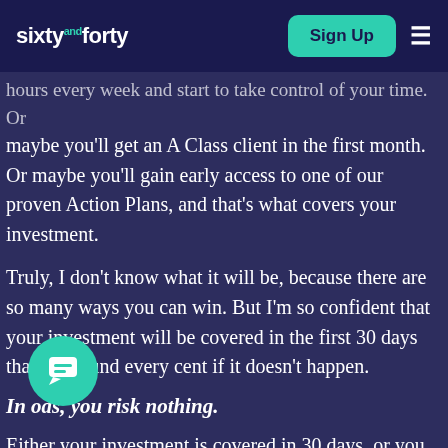sixty and forty — Sign Up
hours every week and start to take control of your time.  Or maybe you'll get an A Class client in the first month. Or maybe you'll gain early access to one of our proven Action Plans, and that's what covers your investment.
Truly, I don't know what it will be, because there are so many ways you can win. But I'm so confident that your investment will be covered in the first 30 days that I'll refund every cent if it doesn't happen.
In other words, you risk nothing.
Either your investment is covered in 30 days, or you cancel and